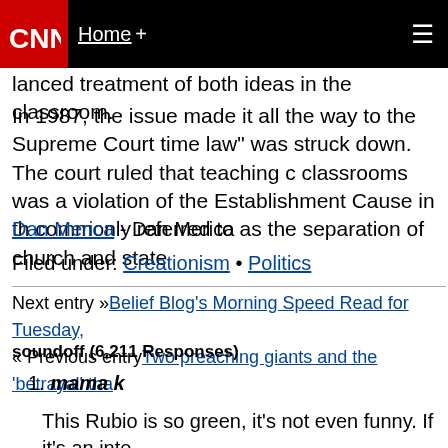CNN — Home +
lanced treatment of both ideas in the classroom.
In 1987, the issue made it all the way to the Supreme Court time law" was struck down. The court ruled that teaching c classrooms was a violation of the Establishment Cause in th commonly referred to as the separation of church and state
Dan Merica - Dan Merica
Filed under: Creationism • Politics
Next entry »Belief Blog's Morning Speed Read for Tuesday, « Previous entryTwo preaching giants and the 'betrayal' tha
soundoff (6,211 Responses)
1. mama k
This Rubio is so green, it's not even funny. If it's an inte